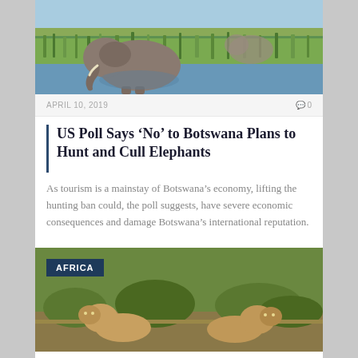[Figure (photo): Elephant grazing near water with green reeds and blue sky in background]
APRIL 10, 2019
0
US Poll Says ‘No’ to Botswana Plans to Hunt and Cull Elephants
As tourism is a mainstay of Botswana’s economy, lifting the hunting ban could, the poll suggests, have severe economic consequences and damage Botswana’s international reputation.
[Figure (photo): Lions or lionesses in African savanna bush, with AFRICA badge overlay]